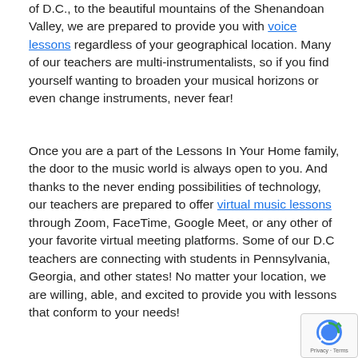of D.C., to the beautiful mountains of the Shenandoan Valley, we are prepared to provide you with voice lessons regardless of your geographical location. Many of our teachers are multi-instrumentalists, so if you find yourself wanting to broaden your musical horizons or even change instruments, never fear!
Once you are a part of the Lessons In Your Home family, the door to the music world is always open to you. And thanks to the never ending possibilities of technology, our teachers are prepared to offer virtual music lessons through Zoom, FaceTime, Google Meet, or any other of your favorite virtual meeting platforms. Some of our D.C teachers are connecting with students in Pennsylvania, Georgia, and other states! No matter your location, we are willing, able, and excited to provide you with lessons that conform to your needs!